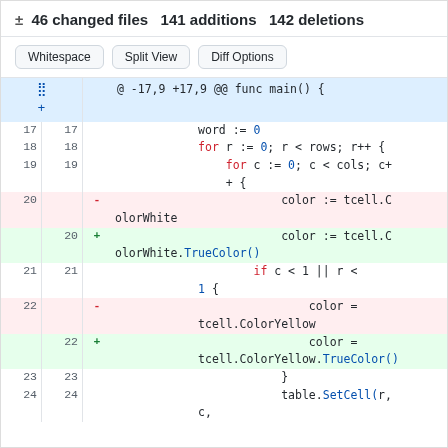± 46 changed files 141 additions 142 deletions
[Figure (screenshot): Code diff view showing buttons: Whitespace, Split View, Diff Options, and a unified diff of Go source code with line numbers, added/removed lines highlighted in green/red, showing changes to color assignment lines adding .TrueColor() method calls.]